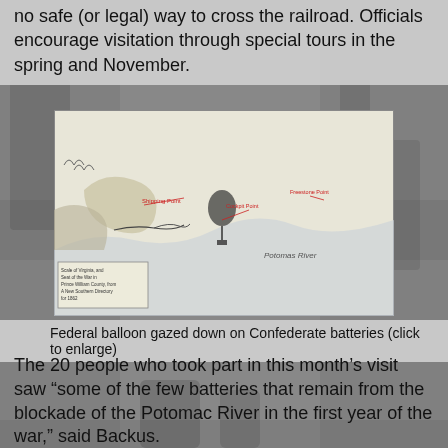no safe (or legal) way to cross the railroad. Officials encourage visitation through special tours in the spring and November.
[Figure (map): Historical map showing Federal balloon gazing down on Confederate batteries along the Potomac River area, with red labels indicating various positions including Shipping Point, Cockpit Point, and Freestone Point.]
Federal balloon gazed down on Confederate batteries (click to enlarge)
The 20 people who took part in this month's visit saw “some of the few batteries that remain from the blockade of the Potomac River in the first year of the war,” said Backus.
In a press release announcing the tours, Orrison, the county's historic site operations supervisor, wrote: "This property is unique as it contains some of the best preserved earthworks and forts from the Civil War in Northern Virginia